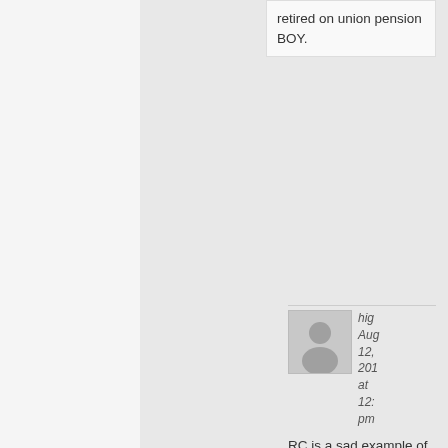retired on union pension BOY.
[Figure (illustration): Default user avatar placeholder image - grey silhouette of a person on light grey background]
hig Aug 12, 201 at 12: pm
RC is a sad example of what can happen to an individu brain cells if they bur...